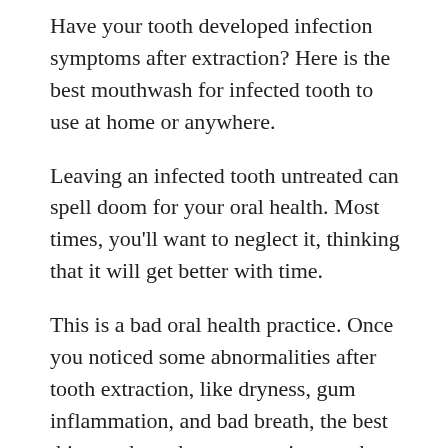Have your tooth developed infection symptoms after extraction? Here is the best mouthwash for infected tooth to use at home or anywhere.
Leaving an infected tooth untreated can spell doom for your oral health. Most times, you'll want to neglect it, thinking that it will get better with time.
This is a bad oral health practice. Once you noticed some abnormalities after tooth extraction, like dryness, gum inflammation, and bad breath, the best thing to do at that moment is to seek treatment and medical advice.
One of the ways to treat tooth abscess is to use mouthwash specifically made for tooth infections. These symptoms of tooth infection spreading to the body can cause brain issues or even death.
The rule of thumb is this, once you are done with tooth